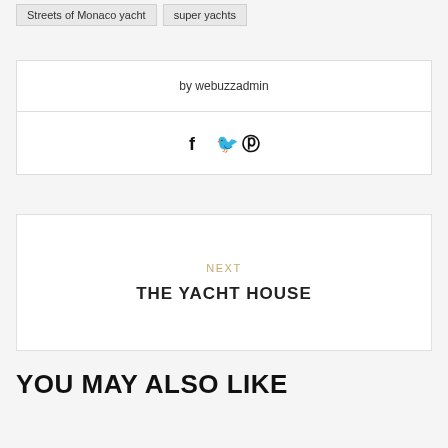Streets of Monaco yacht
super yachts
by webuzzadmin
[Figure (infographic): Social media share icons: Facebook (f), Twitter (bird), Pinterest (P)]
NEXT
THE YACHT HOUSE
YOU MAY ALSO LIKE